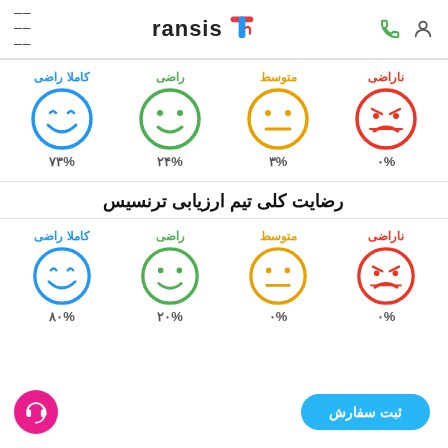Transis logo with user and phone icons on left, hamburger menu on right
[Figure (infographic): Satisfaction rating row: ناراضی 0%, متوسط ۳%, راضی ۲۴%, کاملا راضی ۷۳% with emoji faces]
رضایت کلی تیم ارزیابی ترنسیس
[Figure (infographic): Satisfaction rating row: ناراضی 0%, متوسط 0%, راضی ۲۰%, کاملا راضی ۸...% with emoji faces]